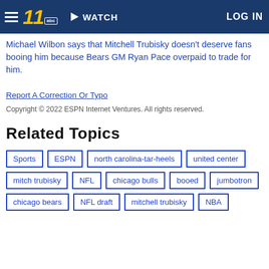WATCH | LOG IN
Michael Wilbon says that Mitchell Trubisky doesn't deserve fans booing him because Bears GM Ryan Pace overpaid to trade for him.
Report A Correction Or Typo
Copyright © 2022 ESPN Internet Ventures. All rights reserved.
Related Topics
Sports
ESPN
north carolina-tar-heels
united center
mitch trubisky
NFL
chicago bulls
booed
jumbotron
chicago bears
NFL draft
mitchell trubisky
NBA